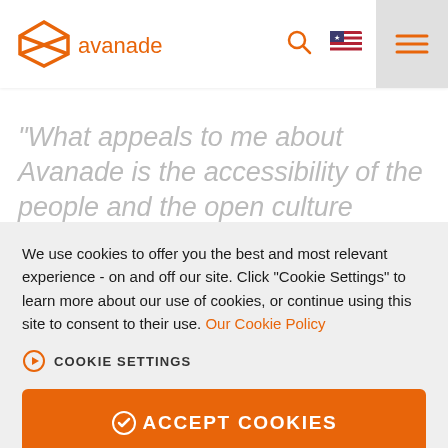[Figure (logo): Avanade logo with orange diamond shape and 'avanade' text in orange]
"What appeals to me about Avanade is the accessibility of the people and the open culture
We use cookies to offer you the best and most relevant experience - on and off our site. Click "Cookie Settings" to learn more about our use of cookies, or continue using this site to consent to their use. Our Cookie Policy
COOKIE SETTINGS
ACCEPT COOKIES